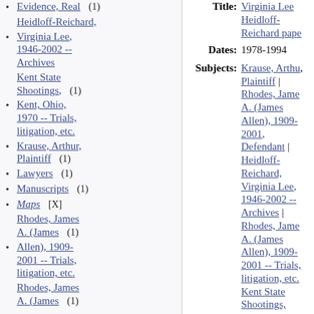Evidence, Real (1)
Heidloff-Reichard,
Virginia Lee, 1946-2002 -- Archives
Kent State Shootings, (1)
Kent, Ohio, 1970 -- Trials, litigation, etc.
Krause, Arthur, Plaintiff (1)
Lawyers (1)
Manuscripts (1)
Maps [X]
Rhodes, James A. (James Allen), 1909-2001 -- Trials, litigation, etc. (1)
Rhodes, James A. (James
Title: Virginia Lee Heidloff-Reichard papers
Dates: 1978-1994
Subjects: Krause, Arthur, Plaintiff | Rhodes, James A. (James Allen), 1909-2001, Defendant | Heidloff-Reichard, Virginia Lee, 1946-2002 -- Archives | Rhodes, James A. (James Allen), 1909-2001 -- Trials, litigation, etc. Kent State Shootings, Kent, Ohio, 1970 -- Trials,